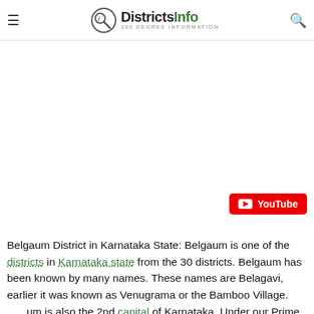DistrictsInfo — 360 Degree Information
[Figure (screenshot): White advertisement/content area in the middle of the page]
[Figure (other): YouTube button (red rounded rectangle with play icon and YouTube text)]
Belgaum District in Karnataka State: Belgaum is one of the districts in Karnataka state from the 30 districts. Belgaum has been known by many names. These names are Belagavi, earlier it was known as Venugrama or the Bamboo Village. Belgaum is also the 2nd capital of Karnataka. Under our Prime
[Figure (infographic): Yolo Froyo / sweetFrog advertisement banner with logo and navigation arrow icon]